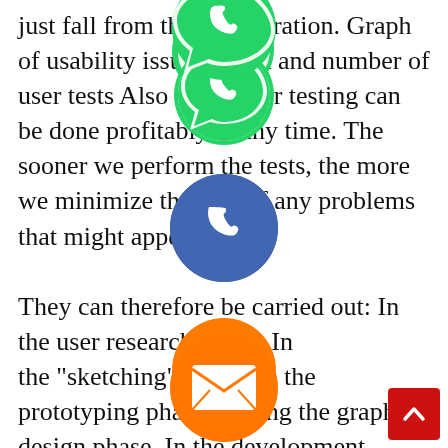just fall from the first iteration. Graph of usability issues found and number of user tests Also note: User testing can be done profitably at any time. The sooner we perform the tests, the more we minimize the cost of any problems that might appear.

They can therefore be carried out: In the user research phase, In the "sketching" phase, In the prototyping phase, During the graphic design phase, In the development phase, With each major update, On a product during its lifetime. Some user testing methods: Do not worry, if the idea of carrying out tests worries you in advance: there is not one method, but many. You will therefore have to choose according to your context and your objectives . Perform lab
[Figure (illustration): Overlay of social media app icons (WhatsApp green, phone blue, email orange, LINE green, Viber purple, close/X green) and a red scroll-to-top button in the bottom right corner]